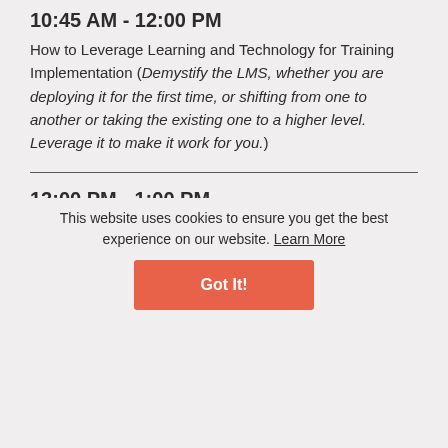10:45 AM - 12:00 PM
How to Leverage Learning and Technology for Training Implementation (Demystify the LMS, whether you are deploying it for the first time, or shifting from one to another or taking the existing one to a higher level. Leverage it to make it work for you.)
12:00 PM - 1:00 PM
Designing Learner-Centric yet Engaging E-learning (Best practices of eLearning design from across the world. Striking a balance between training and entertaining, and revisiting...
This website uses cookies to ensure you get the best experience on our website. Learn More